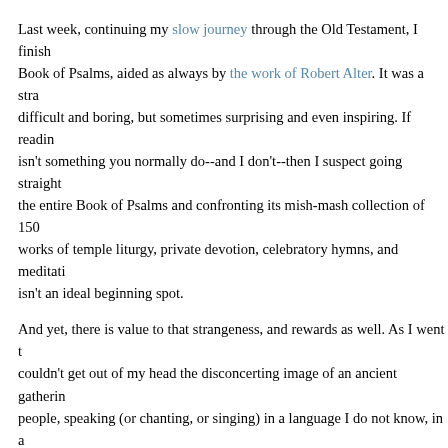Last week, continuing my slow journey through the Old Testament, I finished the Book of Psalms, aided as always by the work of Robert Alter. It was a strange and difficult and boring, but sometimes surprising and even inspiring. If reading poetry isn't something you normally do--and I don't--then I suspect going straight through the entire Book of Psalms and confronting its mish-mash collection of 150 works of temple liturgy, private devotion, celebratory hymns, and meditations isn't an ideal beginning spot.
And yet, there is value to that strangeness, and rewards as well. As I went through I couldn't get out of my head the disconcerting image of an ancient gathering of people, speaking (or chanting, or singing) in a language I do not know, in a place I can barely imagine, conveying, to an audience either huge and public or intensely private and personal (or both), sentiments that, occasionally, were very much exactly my own. I suppose that's a tribute to the power of poetry. Jews twenty-five hundred (or perhaps even as much as three thousand) years ago wrote down the pleadings, the hopes, the fears, the longings, the demands, and the celebrations of their heart, and the spiritual language they lit upon, while often alien and repetitive, sometimes managed to express something that struck me to the core. I can't say I learned as much from this book of the Old Testament as I have from the others I've read up to this point, but this was the first time I really felt as though the words on the page were, sometimes, through some alchemy of history, memory and providential wisdom, actually speaking to me.
As the end of 2015 approaches, here are a selection of ten psalms that convey...